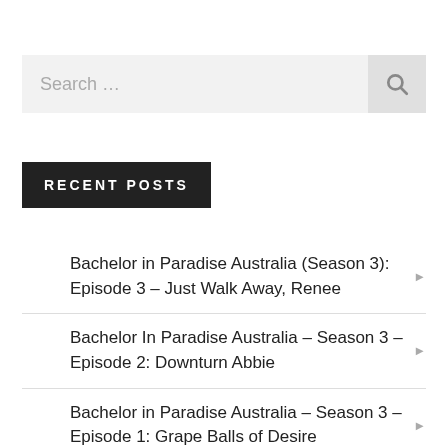Search …
RECENT POSTS
Bachelor in Paradise Australia (Season 3): Episode 3 – Just Walk Away, Renee
Bachelor In Paradise Australia – Season 3 – Episode 2: Downturn Abbie
Bachelor in Paradise Australia – Season 3 – Episode 1: Grape Balls of Desire